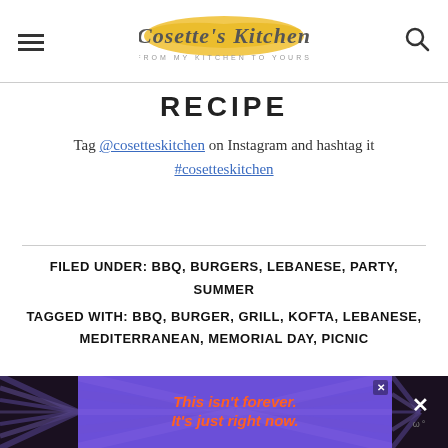Cosette's Kitchen - FROM MY KITCHEN TO YOURS
RECIPE
Tag @cosetteskitchen on Instagram and hashtag it #cosetteskitchen
FILED UNDER: BBQ, BURGERS, LEBANESE, PARTY, SUMMER
TAGGED WITH: BBQ, BURGER, GRILL, KOFTA, LEBANESE, MEDITERRANEAN, MEMORIAL DAY, PICNIC
[Figure (infographic): Advertisement banner: purple background with diagonal rays, orange italic text 'This isn't forever. It's just right now.' with close button and X button on right side.]